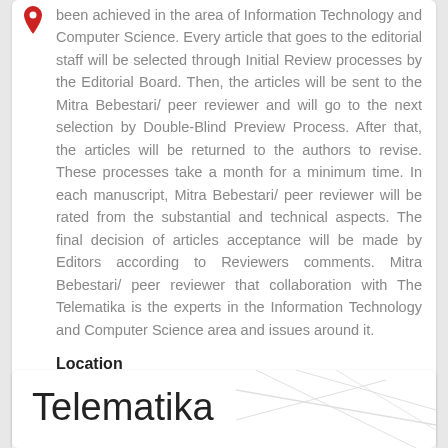been achieved in the area of Information Technology and Computer Science. Every article that goes to the editorial staff will be selected through Initial Review processes by the Editorial Board. Then, the articles will be sent to the Mitra Bebestari/ peer reviewer and will go to the next selection by Double-Blind Preview Process. After that, the articles will be returned to the authors to revise. These processes take a month for a minimum time. In each manuscript, Mitra Bebestari/ peer reviewer will be rated from the substantial and technical aspects. The final decision of articles acceptance will be made by Editors according to Reviewers comments. Mitra Bebestari/ peer reviewer that collaboration with The Telematika is the experts in the Information Technology and Computer Science area and issues around it.
Location
Kab. banyumas,
Jawa tengah
INDONESIA
Telematika